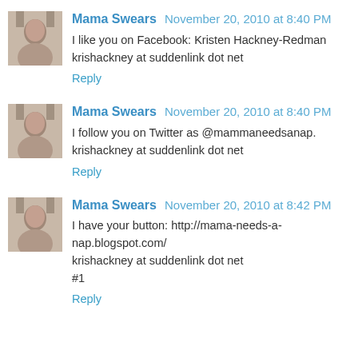[Figure (photo): Small avatar photo of a woman]
Mama Swears November 20, 2010 at 8:40 PM
I like you on Facebook: Kristen Hackney-Redman krishackney at suddenlink dot net
Reply
[Figure (photo): Small avatar photo of a woman]
Mama Swears November 20, 2010 at 8:40 PM
I follow you on Twitter as @mammaneedsanap. krishackney at suddenlink dot net
Reply
[Figure (photo): Small avatar photo of a woman]
Mama Swears November 20, 2010 at 8:42 PM
I have your button: http://mama-needs-a-nap.blogspot.com/ krishackney at suddenlink dot net
#1
Reply